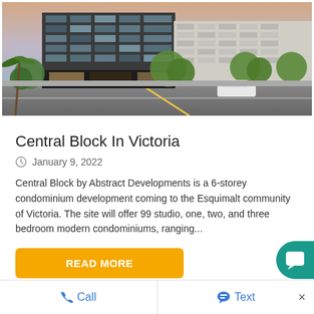[Figure (photo): Architectural rendering of Central Block, a modern multi-storey condominium building in Victoria, with trees and street view]
Central Block In Victoria
January 9, 2022
Central Block by Abstract Developments is a 6-storey condominium development coming to the Esquimalt community of Victoria. The site will offer 99 studio, one, two, and three bedroom modern condominiums, ranging...
READ MORE
Call   Text